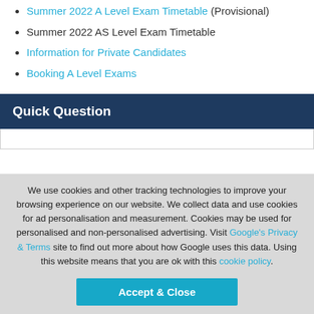Summer 2022 A Level Exam Timetable (Provisional)
Summer 2022 AS Level Exam Timetable
Information for Private Candidates
Booking A Level Exams
Quick Question
We use cookies and other tracking technologies to improve your browsing experience on our website. We collect data and use cookies for ad personalisation and measurement. Cookies may be used for personalised and non-personalised advertising. Visit Google's Privacy & Terms site to find out more about how Google uses this data. Using this website means that you are ok with this cookie policy.